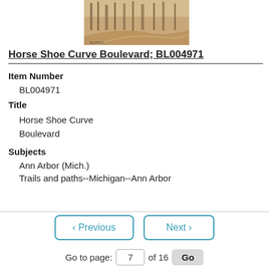[Figure (photo): Sepia-toned photograph of a curved path or boulevard through trees]
Horse Shoe Curve Boulevard; BL004971
Item Number
BL004971
Title
Horse Shoe Curve Boulevard
Subjects
Ann Arbor (Mich.)
Trails and paths--Michigan--Ann Arbor